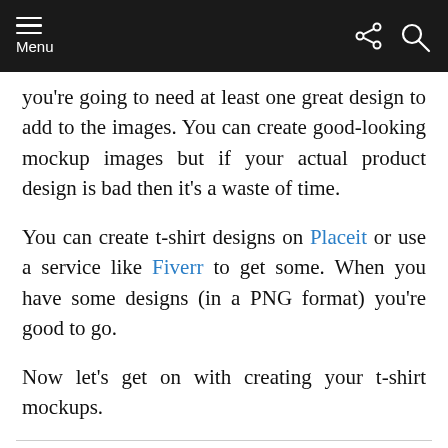Menu
you’re going to need at least one great design to add to the images. You can create good-looking mockup images but if your actual product design is bad then it’s a waste of time.
You can create t-shirt designs on Placeit or use a service like Fiverr to get some. When you have some designs (in a PNG format) you’re good to go.
Now let’s get on with creating your t-shirt mockups.